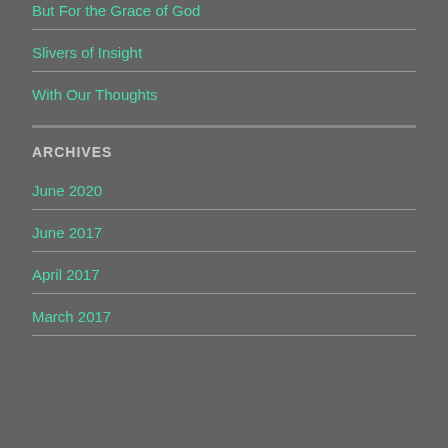But For the Grace of God
Slivers of Insight
With Our Thoughts
ARCHIVES
June 2020
June 2017
April 2017
March 2017